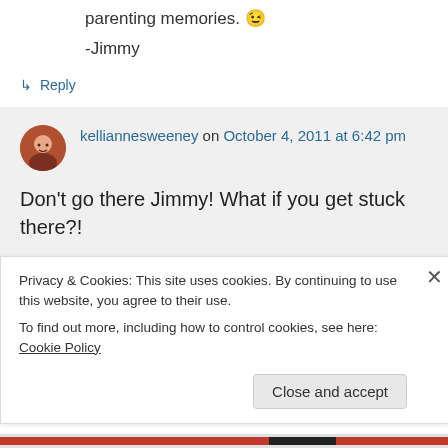parenting memories. 😉
-Jimmy
↳ Reply
kelliannesweeney on October 4, 2011 at 6:42 pm
Don't go there Jimmy! What if you get stuck there?!
Privacy & Cookies: This site uses cookies. By continuing to use this website, you agree to their use.
To find out more, including how to control cookies, see here: Cookie Policy
Close and accept